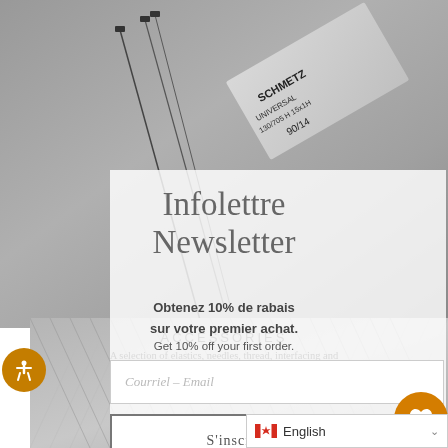[Figure (photo): Grayscale photo of Schmetz Universal sewing machine needles packaging (130/705 H 15x1H, 90/14) with needles visible, shown as background top portion]
Infolettre
Newsletter
Obtenez 10% de rabais
sur votre premier achat.
Get 10% off your first order.
Courriel – Email
S'inscrire - Subscribe
ACCESSORIES
A selection of elastics, needles, thread, interfacing and much more !
SHOP HERE
[Figure (photo): Grayscale photo of striped/herringbone textile fabric shown in lower portion of page]
English